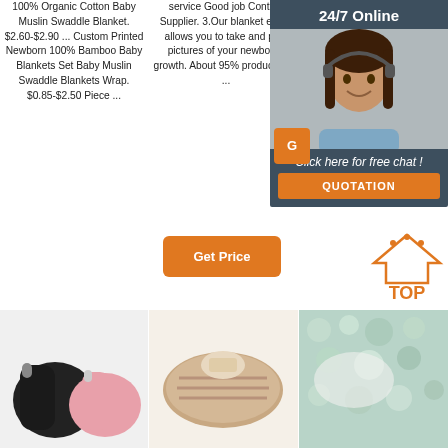100% Organic Cotton Baby Muslin Swaddle Blanket. $2.60-$2.90 ... Custom Printed Newborn 100% Bamboo Baby Blankets Set Baby Muslin Swaddle Blankets Wrap. $0.85-$2.50 Piece ...
service Good job Contact Supplier. 3.Our blanket easily allows you to take and post pictures of your newborns growth. About 95% products are ...
Organic Cotton Newborn Super Soft Baby Muslin Swaddle Blanket Custom Price
[Figure (infographic): 24/7 Online chat widget with woman wearing headset, 'Click here for free chat!' text and QUOTATION button]
Get Price (button, column 1)
Get Price (button, column 2)
[Figure (photo): Black and pink baby boots/booties]
[Figure (photo): Sole of a shoe/slipper]
[Figure (photo): Soft baby blanket or fur textile]
[Figure (infographic): TOP navigation button with house icon in orange]